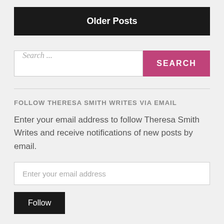Older Posts
[Figure (screenshot): Search bar with text input field showing 'Search ...' placeholder and a pink SEARCH button]
FOLLOW THERESA SMITH WRITES VIA EMAIL
Enter your email address to follow Theresa Smith Writes and receive notifications of new posts by email.
[Figure (screenshot): Email input field with placeholder 'Enter your email address']
Follow